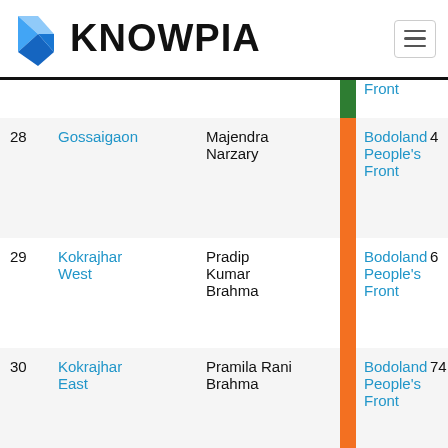[Figure (logo): Knowpia logo with blue angular K icon and bold KNOWPIA text]
| # | Constituency | Candidate |  | Party | Votes |
| --- | --- | --- | --- | --- | --- |
|  |  |  |  | Front |  |
| 28 | Gossaigaon | Majendra Narzary |  | Bodoland People's Front | 4… |
| 29 | Kokrajhar West | Pradip Kumar Brahma |  | Bodoland People's Front | 6… |
| 30 | Kokrajhar East | Pramila Rani Brahma |  | Bodoland People's Front | 74… |
| 31 | Sidli | Chandan Brahma |  | Bodoland People's Front | 6… |